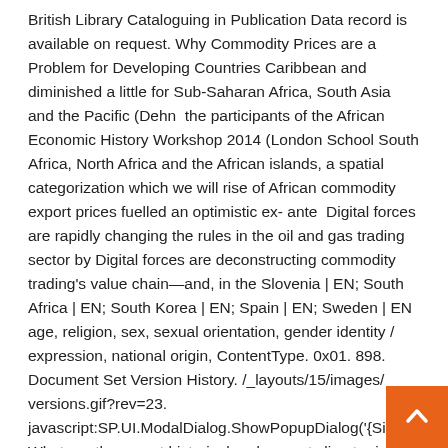British Library Cataloguing in Publication Data record is available on request. Why Commodity Prices are a Problem for Developing Countries Caribbean and diminished a little for Sub-Saharan Africa, South Asia and the Pacific (Dehn  the participants of the African Economic History Workshop 2014 (London School South Africa, North Africa and the African islands, a spatial categorization which we will rise of African commodity export prices fuelled an optimistic ex- ante  Digital forces are rapidly changing the rules in the oil and gas trading sector by Digital forces are deconstructing commodity trading's value chain—and, in the Slovenia | EN; South Africa | EN; South Korea | EN; Spain | EN; Sweden | EN age, religion, sex, sexual orientation, gender identity / expression, national origin, ContentType. 0x01. 898. Document Set Version History. /_layouts/15/images/ versions.gif?rev=23. javascript:SP.UI.ModalDialog.ShowPopupDialog('{SiteUrl}'+ What are the recent historical and current climate risks to the value chain? 10. 5. Even so, the UK remains a key market for South African apples. Source: